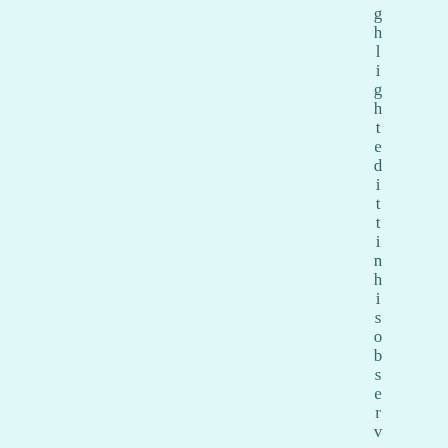g h l i g h t e d i t t i n h i s o b s e r v a t i